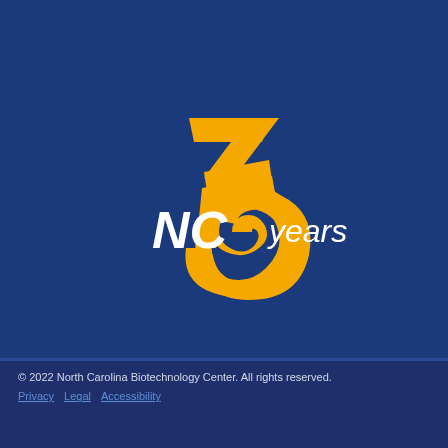[Figure (logo): NC Biotech Center 35 years logo — golden stylized '35' numeral with 'NC' in white bold italic text overlaid, and 'years' in white italic text, on a dark navy blue background]
© 2022 North Carolina Biotechnology Center. All rights reserved. Privacy  Legal  Accessibility